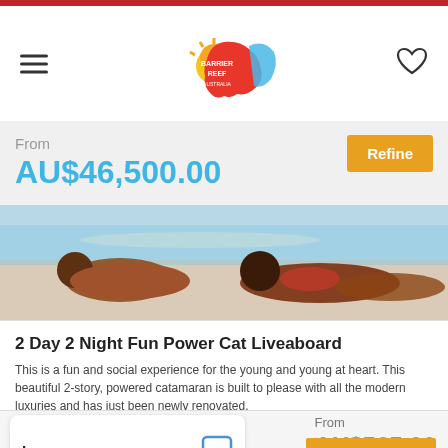[Figure (logo): Barrier Reef Australia logo — colorful Australia map shape with sun, text says BARRIER REEF AUSTRALIA]
From
AU$46,500.00
Refine
[Figure (photo): Two people lying on a sandy beach in swimwear, bright sunny day, ocean in background]
2 Day 2 Night Fun Power Cat Liveaboard
This is a fun and social experience for the young and young at heart. This beautiful 2-story, powered catamaran is built to please with all the modern luxuries and has just been newly renovated.
Departing: Airlie Beach
From
AU$565.00
Leave a message